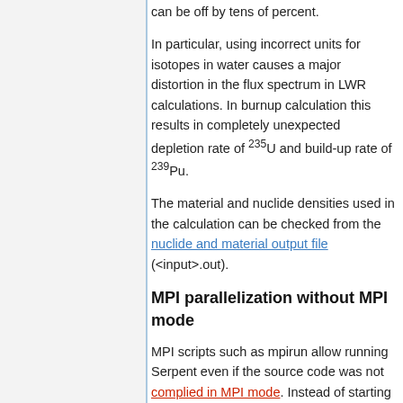can be off by tens of percent.
In particular, using incorrect units for isotopes in water causes a major distortion in the flux spectrum in LWR calculations. In burnup calculation this results in completely unexpected depletion rate of 235U and build-up rate of 239Pu.
The material and nuclide densities used in the calculation can be checked from the nuclide and material output file (<input>.out).
MPI parallelization without MPI mode
MPI scripts such as mpirun allow running Serpent even if the source code was not complied in MPI mode. Instead of starting a single parallel simulation, the ...